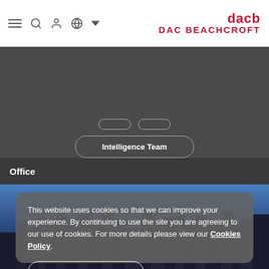[Figure (logo): DAC Beachcroft logo with stylized red symbol and bold red text]
[Figure (screenshot): Website navigation header with hamburger menu, search, user, and globe icons on the left, and DAC Beachcroft logo on the right]
[Figure (screenshot): Dark grey navigation section with two pill buttons (partially visible) and an Intelligence Team pill button centered below]
Office
[Figure (photo): Night cityscape photograph showing illuminated buildings against a blue-purple sky]
This website uses cookies so that we can improve your experience. By continuing to use the site you are agreeing to our use of cookies. For more details please view our Cookies Policy.
Continue and accept ›